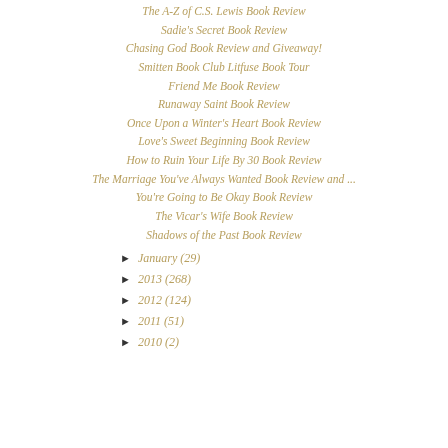The A-Z of C.S. Lewis Book Review
Sadie's Secret Book Review
Chasing God Book Review and Giveaway!
Smitten Book Club Litfuse Book Tour
Friend Me Book Review
Runaway Saint Book Review
Once Upon a Winter's Heart Book Review
Love's Sweet Beginning Book Review
How to Ruin Your Life By 30 Book Review
The Marriage You've Always Wanted Book Review and ...
You're Going to Be Okay Book Review
The Vicar's Wife Book Review
Shadows of the Past Book Review
► January (29)
► 2013 (268)
► 2012 (124)
► 2011 (51)
► 2010 (2)